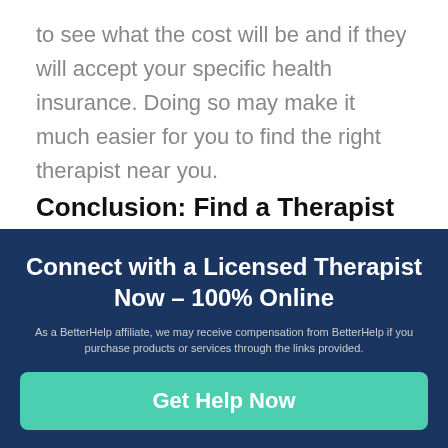to see what the cost will be and if they will accept your specific health insurance. Doing so may make it much easier for you to find the right therapist near you.
Conclusion: Find a Therapist Near Me in Cabot AR
Searching for Therapist near me in Google can be a great way to help you get started
Connect with a Licensed Therapist Now - 100% Online
As a BetterHelp affiliate, we may receive compensation from BetterHelp if you purchase products or services through the links provided.
Get Help Now